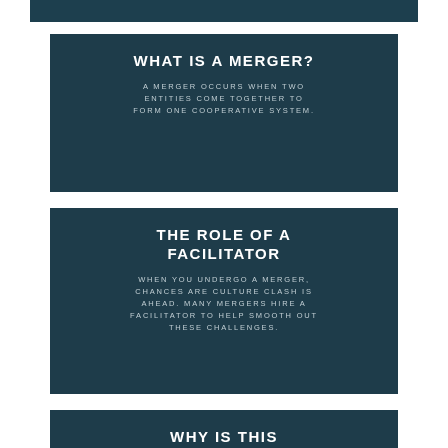WHAT IS A MERGER?
A MERGER OCCURS WHEN TWO ENTITIES COME TOGETHER TO FORM ONE COOPERATIVE SYSTEM.
THE ROLE OF A FACILITATOR
WHEN YOU UNDERGO A MERGER, CHANCES ARE CULTURE CLASH IS AHEAD. MANY MERGERS HIRE A FACILITATOR TO HELP SMOOTH OUT THESE CHALLENGES.
WHY IS THIS IMPORTANT?
YOUR TRANSITION PERIOD SETS THE TONE FOR THE BUSINESS. A FACILITATOR ESTABLISHES...